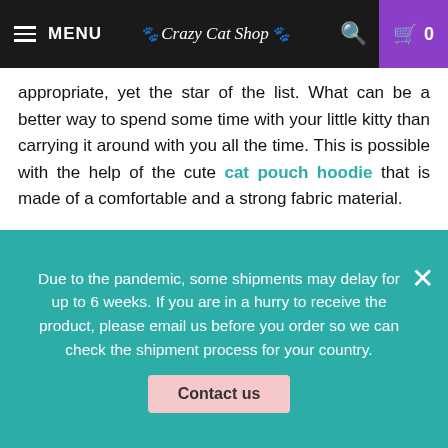MENU | Crazy Cat Shop | Search | Cart 0
appropriate, yet the star of the list. What can be a better way to spend some time with your little kitty than carrying it around with you all the time. This is possible with the help of the cute cat pouch hoodie that is made of a comfortable and a strong fabric material.
[Figure (photo): A white cat peeking out of a gray cat pouch hoodie worn by a person]
Due to the pandemic, some shipments may delay for up to 6 weeks. If you are in a hurry to receive the product, please email us before you order so we can check the shipment process for your country.